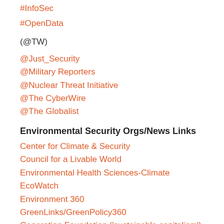#InfoSec
#OpenData
(@TW)
@Just_Security
@Military Reporters
@Nuclear Threat Initiative
@The CyberWire
@The Globalist
Environmental Security Orgs/News Links
Center for Climate & Security
Council for a Livable World
Environmental Health Sciences-Climate
EcoWatch
Environment 360
GreenLinks/GreenPolicy360
Generation Foundation ('sustainable capitalism')
Grist-Climate&Energy
Institute for Environmental Diplomacy & Security